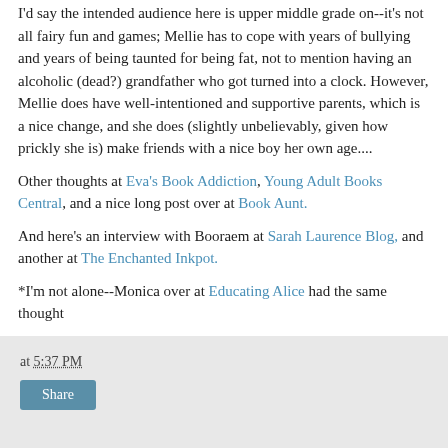I'd say the intended audience here is upper middle grade on--it's not all fairy fun and games; Mellie has to cope with years of bullying and years of being taunted for being fat, not to mention having an alcoholic (dead?) grandfather who got turned into a clock. However, Mellie does have well-intentioned and supportive parents, which is a nice change, and she does (slightly unbelievably, given how prickly she is) make friends with a nice boy her own age....
Other thoughts at Eva's Book Addiction, Young Adult Books Central, and a nice long post over at Book Aunt.
And here's an interview with Booraem at Sarah Laurence Blog, and another at The Enchanted Inkpot.
*I'm not alone--Monica over at Educating Alice had the same thought
at 5:37 PM  Share